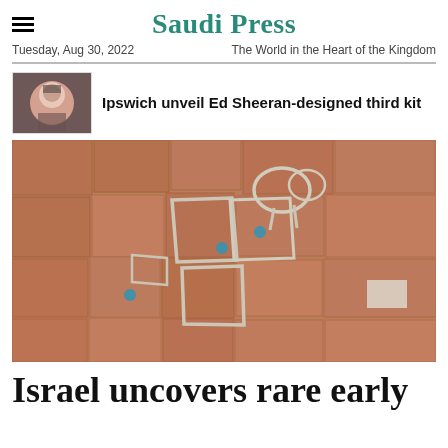Saudi Press | Tuesday, Aug 30, 2022 | The World in the Heart of the Kingdom
Ipswich unveil Ed Sheeran-designed third kit
[Figure (photo): Aerial photograph of an archaeological dig site showing ancient building foundations outlined in white stones on reddish-brown earth, with workers/equipment visible]
Israel uncovers rare early